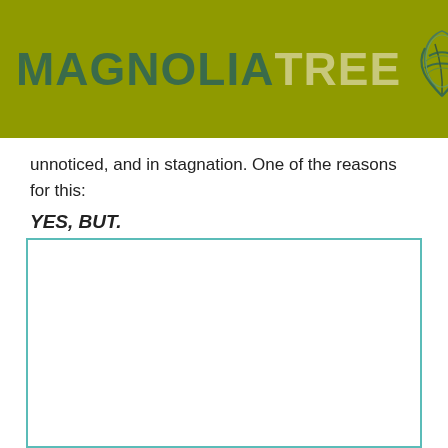MAGNOLIATREE [logo icon] Menu
unnoticed, and in stagnation. One of the reasons for this:
YES, BUT.
[Figure (other): Empty white box with teal/cyan border, representing an embedded image or content placeholder.]